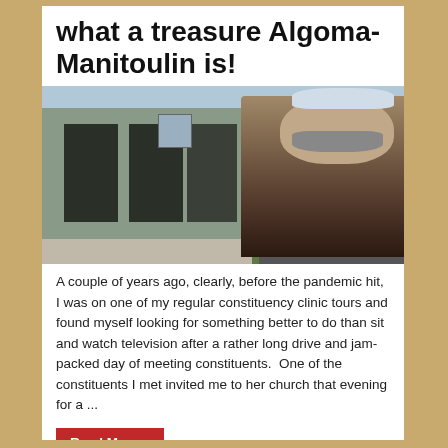what a treasure Algoma-Manitoulin is!
[Figure (photo): A man with a beard wearing a baseball cap and jacket stands in front of an MPP/député Algoma-Manitoulin constituency office building. The office sign reads 'MPP/député Algoma-Manitoulin 1-800-831-1899'. Green grass and trees are visible in the background.]
A couple of years ago, clearly, before the pandemic hit, I was on one of my regular constituency clinic tours and found myself looking for something better to do than sit and watch television after a rather long drive and jam-packed day of meeting constituents.  One of the constituents I met invited me to her church that evening for a ...
Read More »